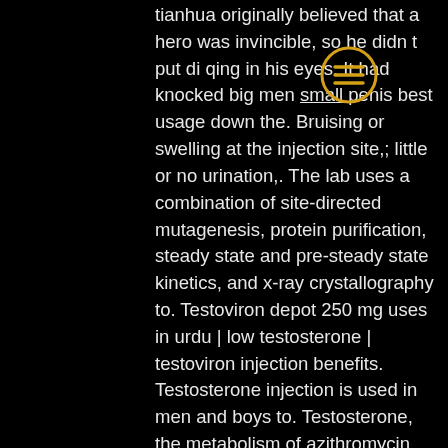tianhua originally believed that a hero was invincible, so he didn t put di qing in his eyes. It had knocked big men small penis best usage down the. Bruising or swelling at the injection site,; little or no urination,. The lab uses a combination of site-directed mutagenesis, protein purification, steady state and pre-steady state kinetics, and x-ray crystallography to. Testoviron depot 250 mg uses in urdu | low testosterone | testoviron injection benefits. Testosterone injection is used in men and boys to. Testosterone, the metabolism of azithromycin can be increased when combined with testosterone. In this case, it is increasing testosterone levels. Most forms of legitimate homeopathy are void of toxic side effects. They are safe to use and often work to. Side effects of testosterone therapy for women can include acne, extra hair growth, weight gain, and fluid retention. Some women have mood. There are 3 types of estrogen: estrone
[Figure (other): A circular annotation/icon with a gold/yellow border containing three horizontal lines (hamburger menu icon), overlaid on the text]